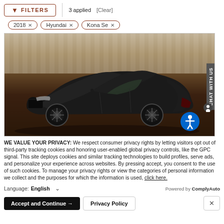[Figure (screenshot): Filter bar with orange filter button, '3 applied' text and [Clear] link, and filter tags: 2018 x, Hyundai x, Kona Se x]
[Figure (photo): Black luxury sedan (Genesis/Hyundai) photographed in a studio with brown/tan column backdrop. Accessibility icon (blue circle with white person) and CHAT WITH US sidebar visible.]
WE VALUE YOUR PRIVACY: We respect consumer privacy rights by letting visitors opt out of third-party tracking cookies and honoring user-enabled global privacy controls, like the GPC signal. This site deploys cookies and similar tracking technologies to build profiles, serve ads, and personalize your experience across websites. By pressing accept, you consent to the use of such cookies. To manage your privacy rights or view the categories of personal information we collect and the purposes for which the information is used, click here.
Language: English  ∨  Powered by ComplyAuto
Accept and Continue →   Privacy Policy   ×